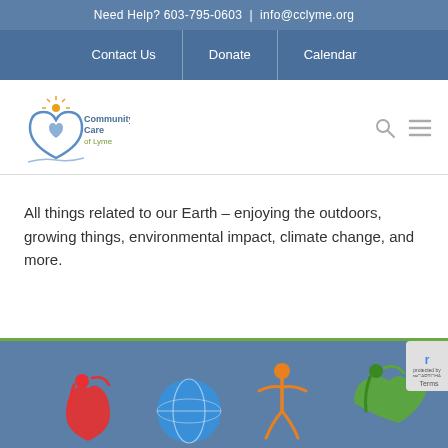Need Help? 603-795-0603  |  info@cclyme.org
Contact Us  |  Donate  |  Calendar
[Figure (logo): Community Care of Lyme logo with house/heart shape and sun rays, text reads 'CommunityCare of Lyme']
All things related to our Earth – enjoying the outdoors, growing things, environmental impact, climate change, and more.
[Figure (illustration): Row of colorful icons: red heart with person, blue globe/earth, orange person stretching, green leaf/person figure, on a blue background with green border]